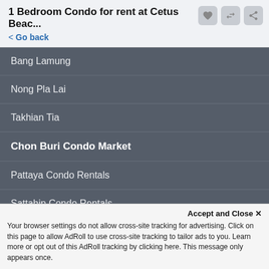1 Bedroom Condo for rent at Cetus Beac...
< Go back
Bang Lamung
Nong Pla Lai
Takhian Tia
Chon Buri Condo Market
Pattaya Condo Rentals
Sattahip Condo Rentals
Si Racha Condo Rentals
Mueang Chon Buri Condo Rentals
Condos for Rent Nearby
Nong Prue Condo Rentals
Accept and Close ×
Your browser settings do not allow cross-site tracking for advertising. Click on this page to allow AdRoll to use cross-site tracking to tailor ads to you. Learn more or opt out of this AdRoll tracking by clicking here. This message only appears once.